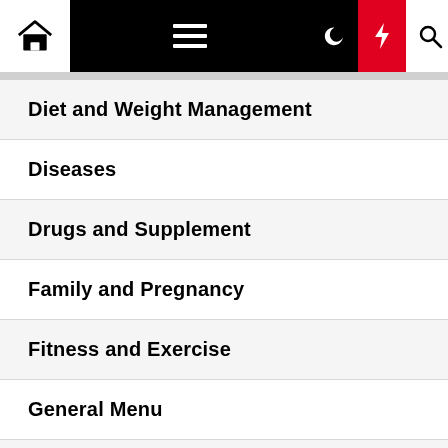[Figure (screenshot): Navigation bar with home icon, hamburger menu, dark mode toggle, lightning bolt (breaking news) button in red, and search icon]
Diet and Weight Management
Diseases
Drugs and Supplement
Family and Pregnancy
Fitness and Exercise
General Menu
Healthy Beauty
Healthy Food and Recipes
Healthy News